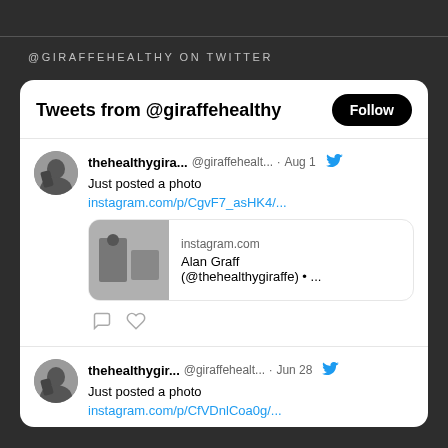@GIRAFFEHEALTHY ON TWITTER
[Figure (screenshot): Twitter widget showing tweets from @giraffehealthy. First tweet by thehealthygira... (@giraffehealt...) on Aug 1: 'Just posted a photo instagram.com/p/CgvF7_asHK4/...' with an Instagram card showing 'instagram.com' and 'Alan Graff (@thehealthygiraffe) • ...'. Second tweet by thehealthygir... (@giraffehealth...) on Jun 28: 'Just posted a photo' with a link.]